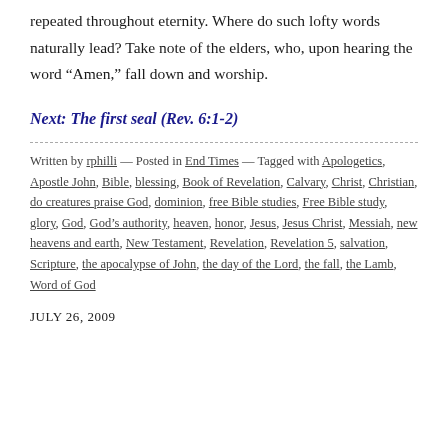repeated throughout eternity. Where do such lofty words naturally lead? Take note of the elders, who, upon hearing the word “Amen,” fall down and worship.
Next: The first seal (Rev. 6:1-2)
Written by rphilli — Posted in End Times — Tagged with Apologetics, Apostle John, Bible, blessing, Book of Revelation, Calvary, Christ, Christian, do creatures praise God, dominion, free Bible studies, Free Bible study, glory, God, God’s authority, heaven, honor, Jesus, Jesus Christ, Messiah, new heavens and earth, New Testament, Revelation, Revelation 5, salvation, Scripture, the apocalypse of John, the day of the Lord, the fall, the Lamb, Word of God
JULY 26, 2009